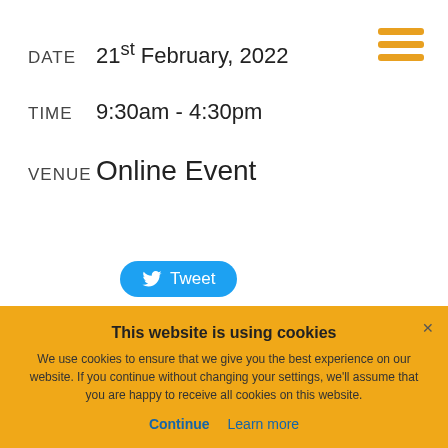DATE   21st February, 2022
TIME   9:30am - 4:30pm
VENUE  Online Event
[Figure (other): Hamburger menu icon with three orange horizontal bars]
[Figure (other): Twitter Tweet button with bird icon]
This website is using cookies
We use cookies to ensure that we give you the best experience on our website. If you continue without changing your settings, we'll assume that you are happy to receive all cookies on this website.
Continue   Learn more